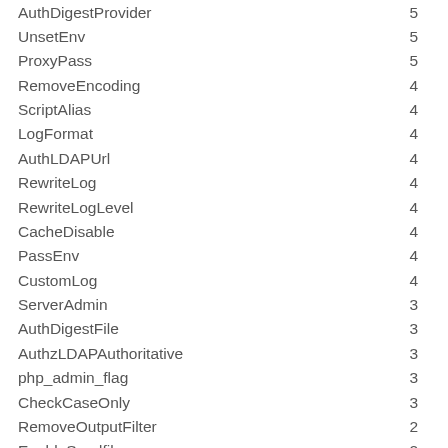| Directive | Count |
| --- | --- |
| AuthDigestProvider | 5 |
| UnsetEnv | 5 |
| ProxyPass | 5 |
| RemoveEncoding | 4 |
| ScriptAlias | 4 |
| LogFormat | 4 |
| AuthLDAPUrl | 4 |
| RewriteLog | 4 |
| RewriteLogLevel | 4 |
| CacheDisable | 4 |
| PassEnv | 4 |
| CustomLog | 4 |
| ServerAdmin | 3 |
| AuthDigestFile | 3 |
| AuthzLDAPAuthoritative | 3 |
| php_admin_flag | 3 |
| CheckCaseOnly | 3 |
| RemoveOutputFilter | 2 |
| EnableSendfile | 2 |
| ServerAlias | 2 |
| SetInputFilter | 2 |
| AccessFileName | 2 |
| AllowEncodedSlashes | 2 |
| AuthDBMGroupFile | 2 |
| AuthDBMUserFile | 2 |